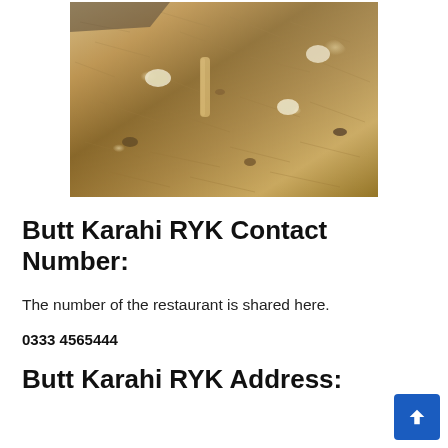[Figure (photo): Close-up photo of a karahi dish with rice, whole spices including cinnamon stick, garlic cloves, and mixed spices in a dark cooking pan]
Butt Karahi RYK Contact Number:
The number of the restaurant is shared here.
0333 4565444
Butt Karahi RYK Address: